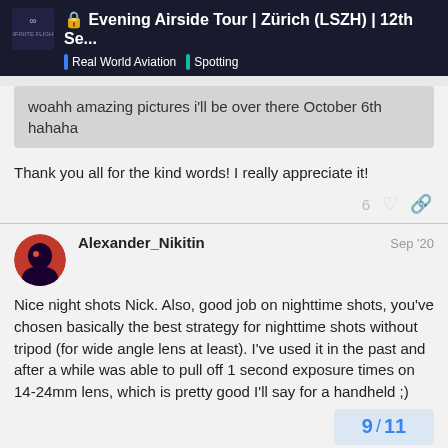Evening Airside Tour | Zürich (LSZH) | 12th Se... | Real World Aviation | Spotting
woahh amazing pictures i'll be over there October 6th hahaha
Thank you all for the kind words! I really appreciate it!
Alexander_Nikitin  Sep '20
Nice night shots Nick. Also, good job on nighttime shots, you've chosen basically the best strategy for nighttime shots without tripod (for wide angle lens at least). I've used it in the past and after a while was able to pull off 1 second exposure times on 14-24mm lens, which is pretty good I'll say for a handheld ;)
9 / 11